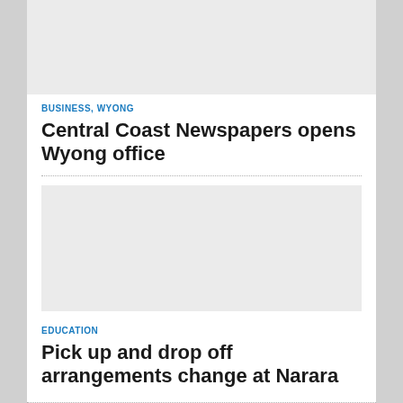[Figure (other): Gray advertisement placeholder box at top of page]
BUSINESS, WYONG
Central Coast Newspapers opens Wyong office
[Figure (other): Gray advertisement placeholder box in middle of page]
EDUCATION
Pick up and drop off arrangements change at Narara